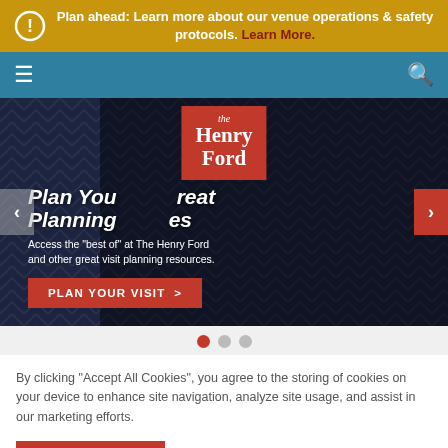Plan ahead: Learn more about our venue operations & safety protocols. Learn More.
[Figure (screenshot): The Henry Ford museum website hero slider showing 'Plan Your Visit — Great Planning Resources' with a logo overlay, navigation arrows, and CTA button 'PLAN YOUR VISIT >']
By clicking "Accept All Cookies", you agree to the storing of cookies on your device to enhance site navigation, analyze site usage, and assist in our marketing efforts.
Accept Cookies   Cookies Settings